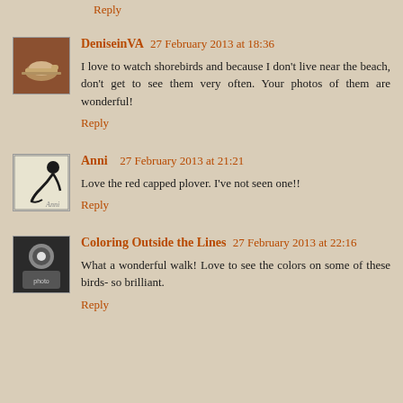Reply
DeniseinVA  27 February 2013 at 18:36
I love to watch shorebirds and because I don't live near the beach, don't get to see them very often. Your photos of them are wonderful!
Reply
Anni  27 February 2013 at 21:21
Love the red capped plover. I've not seen one!!
Reply
Coloring Outside the Lines  27 February 2013 at 22:16
What a wonderful walk! Love to see the colors on some of these birds- so brilliant.
Reply